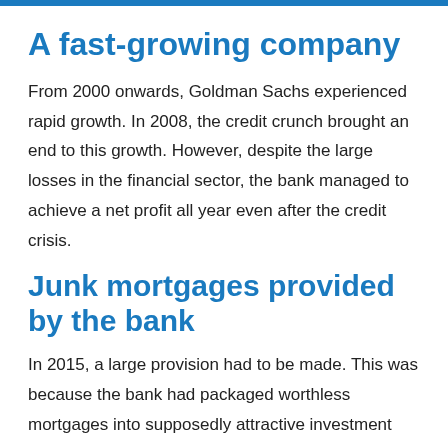A fast-growing company
From 2000 onwards, Goldman Sachs experienced rapid growth. In 2008, the credit crunch brought an end to this growth. However, despite the large losses in the financial sector, the bank managed to achieve a net profit all year even after the credit crisis.
Junk mortgages provided by the bank
In 2015, a large provision had to be made. This was because the bank had packaged worthless mortgages into supposedly attractive investment